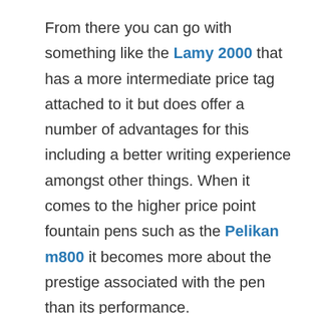From there you can go with something like the Lamy 2000 that has a more intermediate price tag attached to it but does offer a number of advantages for this including a better writing experience amongst other things. When it comes to the higher price point fountain pens such as the Pelikan m800 it becomes more about the prestige associated with the pen than its performance.
Are Expensive Fountain Pens Worth It?